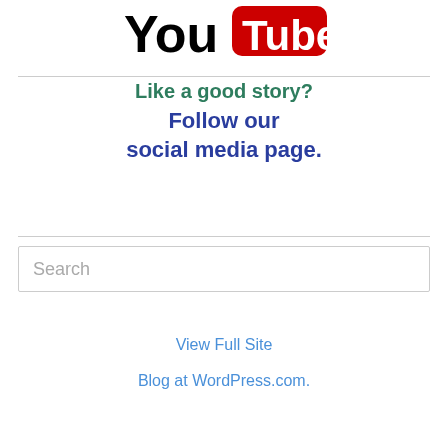[Figure (logo): Partial YouTube logo visible at top of page, showing 'You' in black bold text and 'Tube' in white text on a red rounded-rectangle background]
Like a good story?
Follow our social media page.
Search
View Full Site
Blog at WordPress.com.